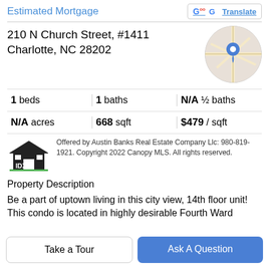Estimated Mortgage
[Figure (logo): Google Translate button with G logo]
210 N Church Street, #1411
Charlotte, NC 28202
[Figure (map): Circular map thumbnail showing street map with blue location pin]
| 1 beds | 1 baths | N/A ½ baths |
| N/A acres | 668 sqft | $479 / sqft |
[Figure (logo): IDX house logo]
Offered by Austin Banks Real Estate Company Llc: 980-819-1921. Copyright 2022 Canopy MLS. All rights reserved.
Property Description
Be a part of uptown living in this city view, 14th floor unit! This condo is located in highly desirable Fourth Ward
Take a Tour
Ask A Question